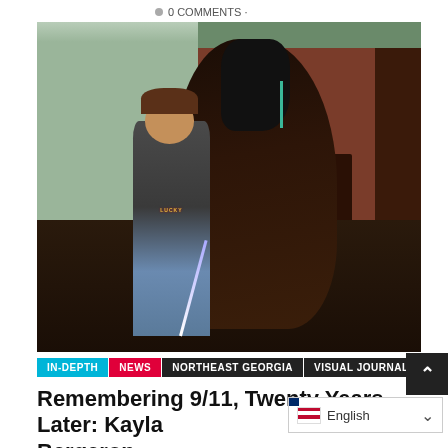0 COMMENTS ·
[Figure (photo): A woman wearing a gray 'LUCKY' t-shirt and glasses stands next to a large dark horse outside a red barn. She holds a blue and white lead rope.]
IN-DEPTH  NEWS  NORTHEAST GEORGIA  VISUAL JOURNALISM
Remembering 9/11, Twenty Years Later: Kayla Bergeron